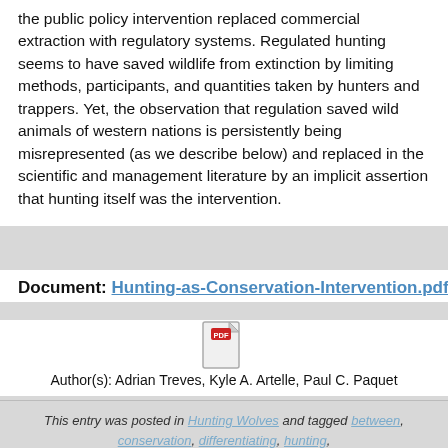the public policy intervention replaced commercial extraction with regulatory systems. Regulated hunting seems to have saved wildlife from extinction by limiting methods, participants, and quantities taken by hunters and trappers. Yet, the observation that regulation saved wild animals of western nations is persistently being misrepresented (as we describe below) and replaced in the scientific and management literature by an implicit assertion that hunting itself was the intervention.
Document: Hunting-as-Conservation-Intervention.pdf
[Figure (other): PDF file icon with red PDF label badge]
Author(s): Adrian Treves, Kyle A. Artelle, Paul C. Paquet
This entry was posted in Hunting Wolves and tagged between, conservation, differentiating, hunting, interventions, regulation. Bookmark the permalink.